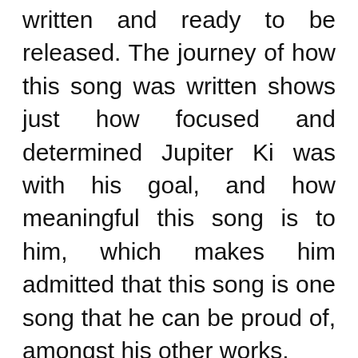written and ready to be released. The journey of how this song was written shows just how focused and determined Jupiter Ki was with his goal, and how meaningful this song is to him, which makes him admitted that this song is one song that he can be proud of, amongst his other works.
The “$20Mill” was born from Jupiter Ki’s journey to India. In 2017, he was “raiding temples” in